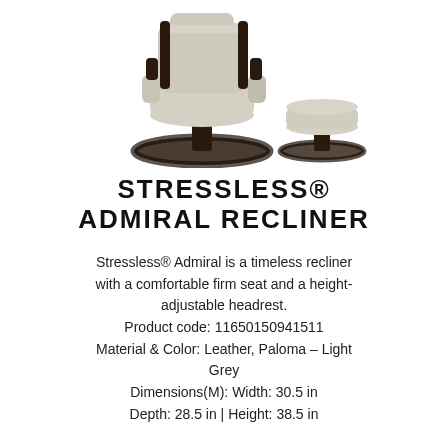[Figure (photo): Stressless Admiral recliner chair with ottoman, light grey leather upholstery and dark wood base, shown at an angle]
STRESSLESS® ADMIRAL RECLINER
Stressless® Admiral is a timeless recliner with a comfortable firm seat and a height-adjustable headrest. Product code: 11650150941511 Material & Color: Leather, Paloma – Light Grey Dimensions(M): Width: 30.5 in Depth: 28.5 in | Height: 38.5 in